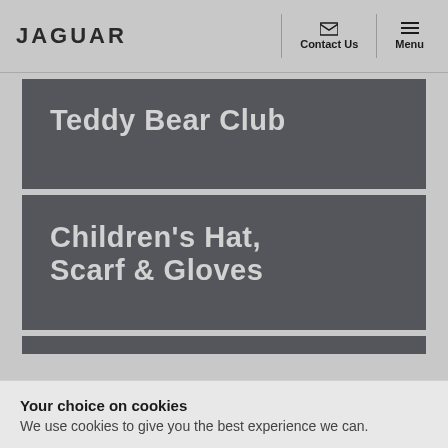JAGUAR | Contact Us | Menu
Teddy Bear Club
Children's Hat, Scarf & Gloves
Your choice on cookies
We use cookies to give you the best experience we can.